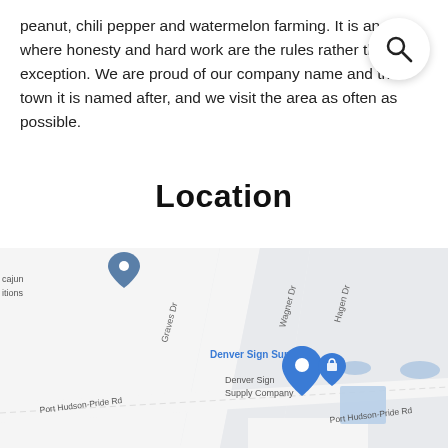peanut, chili pepper and watermelon farming. It is an area where honesty and hard work are the rules rather than the exception. We are proud of our company name and the town it is named after, and we visit the area as often as possible.
Location
[Figure (map): Google Maps showing location of Denver Sign Supply Company on Port Hudson-Pride Rd, with nearby streets Graves Dr, Wagner Dr, and Hagen Dr visible. A map pin marks the business location.]